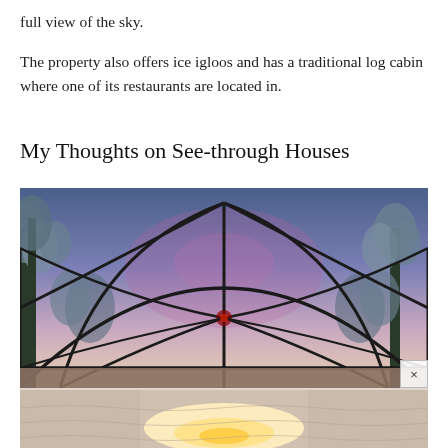full view of the sky.
The property also offers ice igloos and has a traditional log cabin where one of its restaurants are located in.
My Thoughts on See-through Houses
[Figure (photo): Interior view of a glass igloo dome looking up and outward at snow-covered pine trees and a purple-blue winter sky, with dark geodesic frame struts visible. Below is a partial view of another photo showing a warm-lit interior with a glowing light source.]